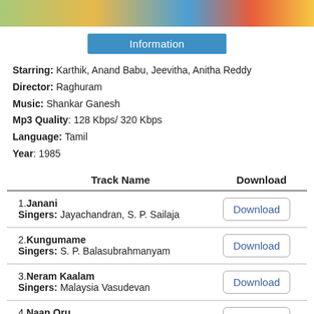[Figure (photo): Colorful photo strip at the top of the page showing partial view of people/figures]
Information
Starring: Karthik, Anand Babu, Jeevitha, Anitha Reddy
Director: Raghuram
Music: Shankar Ganesh
Mp3 Quality: 128 Kbps/ 320 Kbps
Language: Tamil
Year: 1985
| Track Name | Download |
| --- | --- |
| 1. Janani
Singers: Jayachandran, S. P. Sailaja | Download |
| 2. Kungumame
Singers: S. P. Balasubrahmanyam | Download |
| 3. Neram Kaalam
Singers: Malaysia Vasudevan | Download |
| 4. Naan Oru
Singers: SPB | Download |